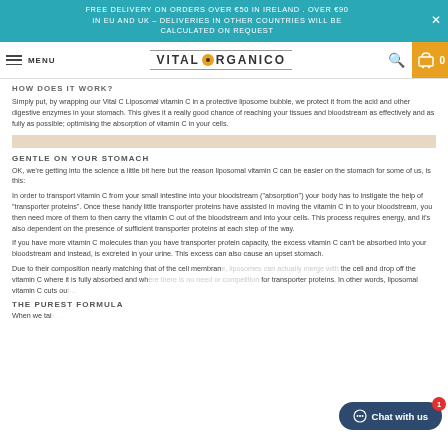FREE DELIVERY ON ORDERS OVER €50 IN IRELAND . OVER €90 IN EU AND UK – DELIVERIES IN OTHER COUNTRIES WILL BE CALCULATED ON REQUEST
MENU  VITAL ORGANICO  0
HOW DOES IT WORK?
Simply put, by wrapping our Vital C Liposomal vitamin C in a protective liposome bubble, we protect it from the acid and other digestive enzymes in your stomach. This gives it a really good chance of reaching your tissues and bloodstream as effectively and as fully as possible; optimising the absorption of vitamin C in your cells.
GENTLE ON YOUR STOMACH
OK, we're getting into the science a little bit here but the reason liposomal vitamin C can be easier on the stomach for some of us, is this:
In order to transport vitamin C from your small intestine into your bloodstream ("absorption") your body has to instigate the help of "transporter proteins". Once these handy little transporter proteins have assisted in moving the vitamin C in to your bloodstream, you then need more of them to then carry the vitamin C out of the bloodstream and into your cells. This process requires energy, and it's also dependent on the presence of sufficient transporter proteins at each step of the way.
If you have more vitamin C molecules than you have transporter protein capacity, the excess vitamin C can't be absorbed into your bloodstream and instead, is excreted in your urine. This excess can also cause an upset stomach.
Due to their composition nearly matching that of the cell membrane, liposomes can actually merge with the cell and drop off the vitamin C where it is fully absorbed and where there is no need or competition for transporter proteins. In other words, liposomal vitamin C cuts out…
THE PUREST FORMULA
When we talk…